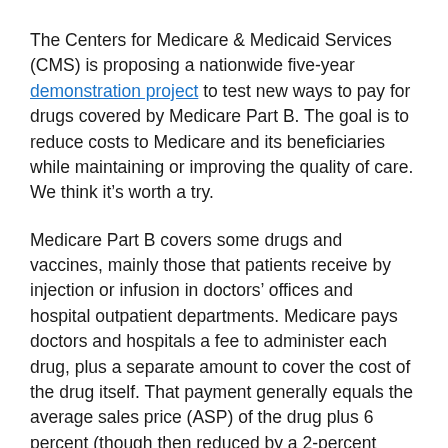The Centers for Medicare & Medicaid Services (CMS) is proposing a nationwide five-year demonstration project to test new ways to pay for drugs covered by Medicare Part B.  The goal is to reduce costs to Medicare and its beneficiaries while maintaining or improving the quality of care.  We think it's worth a try.
Medicare Part B covers some drugs and vaccines, mainly those that patients receive by injection or infusion in doctors' offices and hospital outpatient departments. Medicare pays doctors and hospitals a fee to administer each drug, plus a separate amount to cover the cost of the drug itself.  That payment generally equals the average sales price (ASP) of the drug plus 6 percent (though then reduced by a 2-percent sequestration imposed by the 2011 Budget Control Act).
Most Part B drugs are inexpensive, but a few costly ones account for most spending, according to the Medicare